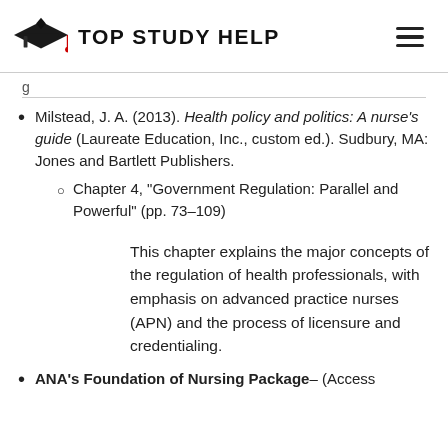TOP STUDY HELP
Milstead, J. A. (2013). Health policy and politics: A nurse's guide (Laureate Education, Inc., custom ed.). Sudbury, MA: Jones and Bartlett Publishers. Chapter 4, “Government Regulation: Parallel and Powerful” (pp. 73–109)
This chapter explains the major concepts of the regulation of health professionals, with emphasis on advanced practice nurses (APN) and the process of licensure and credentialing.
ANA’s Foundation of Nursing Package– (Access